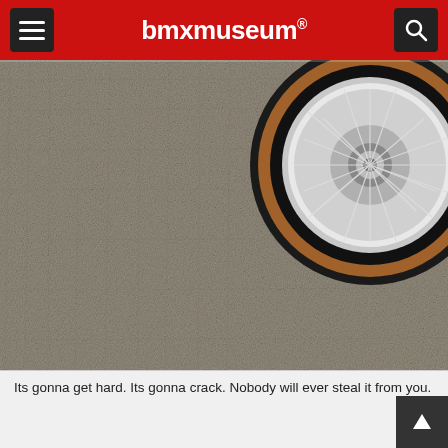bmxmuseum
[Figure (photo): Close-up photo of a BMX bicycle wheel with chrome spokes and gum-wall tire, resting on grey carpet flooring. The wheel is positioned in the upper-right portion of the image.]
Its gonna get hard. Its gonna crack. Nobody will ever steal it from you.